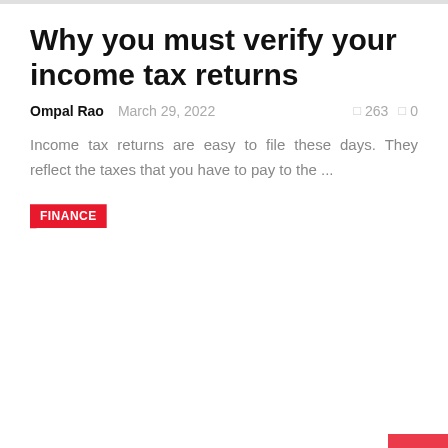Why you must verify your income tax returns
Ompal Rao   March 29, 2022   263   0
Income tax returns are easy to file these days. They reflect the taxes that you have to pay to the ...
FINANCE